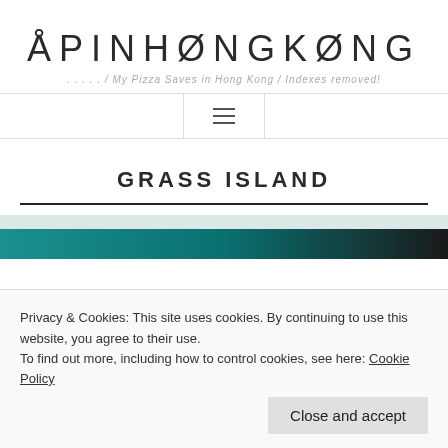ÅPINHØNGKØNG
... / My Pizza Saves in Hong Kong / Indexes removed!
GRASS ISLAND
Privacy & Cookies: This site uses cookies. By continuing to use this website, you agree to their use.
To find out more, including how to control cookies, see here: Cookie Policy
Close and accept